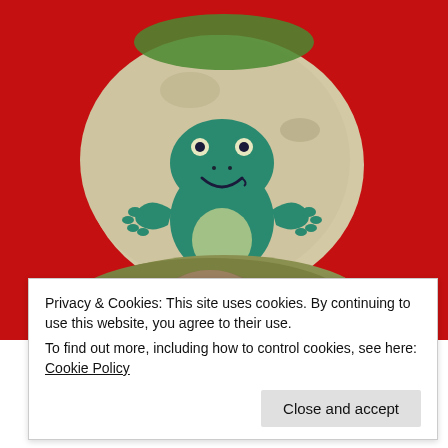[Figure (photo): A hand holding two painted rocks against a red background. The top rock has a smiling green frog painted on it. The bottom rock has a realistic toad image painted or printed on it with green paint around the edges.]
Privacy & Cookies: This site uses cookies. By continuing to use this website, you agree to their use.
To find out more, including how to control cookies, see here: Cookie Policy
Close and accept
little toad houses. My realtor side was amused by those